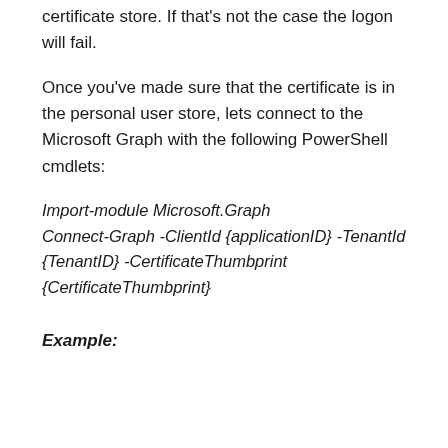certificate store. If that's not the case the logon will fail.
Once you've made sure that the certificate is in the personal user store, lets connect to the Microsoft Graph with the following PowerShell cmdlets:
Import-module Microsoft.Graph
Connect-Graph -ClientId {applicationID} -TenantId {TenantID} -CertificateThumbprint {CertificateThumbprint}
Example: